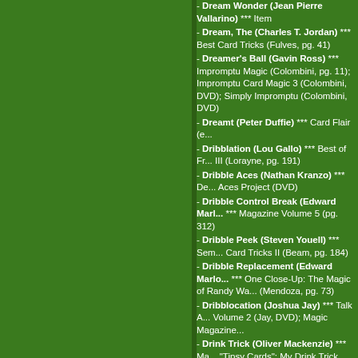- Dream Wonder (Jean Pierre Vallarino) *** Item
- Dream, The (Charles T. Jordan) *** Best Card Tricks (Fulves, pg. 41)
- Dreamer's Ball (Gavin Ross) *** Impromptu Magic (Colombini, pg. 11); Impromptu Card Magic 3 (Colombini, DVD); Simply Impromptu (Colombini, DVD)
- Dreamt (Peter Duffie) *** Card Flair (e...)
- Dribblation (Lou Gallo) *** Best of Fr... III (Lorayne, pg. 191)
- Dribble Aces (Nathan Kranzo) *** De... Aces Project (DVD)
- Dribble Control Break (Edward Marl...) *** Magazine Volume 5 (pg. 312)
- Dribble Peek (Steven Youell) *** Sem... Card Tricks II (Beam, pg. 184)
- Dribble Replacement (Edward Marlo...) *** One Close-Up: The Magic of Randy Wa... (Mendoza, pg. 73)
- Dribblocation (Joshua Jay) *** Talk A... Volume 2 (Jay, DVD); Magic Magazine...
- Drink Trick (Oliver Mackenzie) *** Ma... "Tipsy Cards"; My Drink Trick (booklet b...)
- Driving A Hummer (Ramon Rioboo) *** Automatic Card Tricks VII (Beam, pg. 37...)
- Drop Aces (Barry Govan) *** Close...